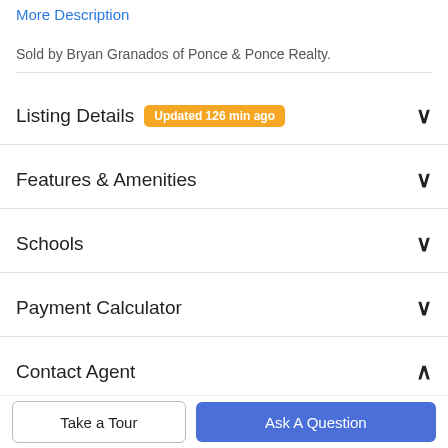More Description
Sold by Bryan Granados of Ponce & Ponce Realty.
Listing Details  Updated 126 min ago
Features & Amenities
Schools
Payment Calculator
Contact Agent
Take a Tour
Ask A Question